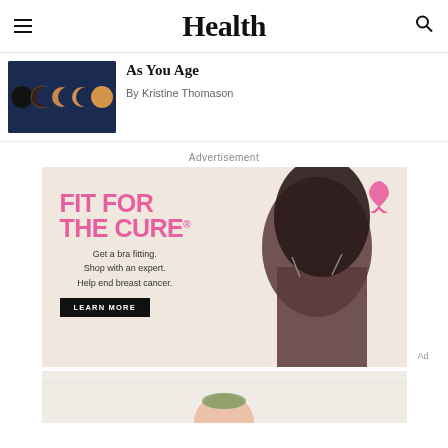Health
[Figure (photo): Thumbnail image showing moon phases sequence against dark blue sky]
As You Age
By Kristine Thomason
Advertisement
[Figure (photo): Advertisement for bra fitting campaign: FIT FOR THE CURE. Get a bra fitting. Shop with an expert. Help end breast cancer. LEARN MORE button. Features a woman wearing a dark bra and a pink ribbon logo.]
[Figure (photo): Second advertisement strip partially visible at bottom showing a drink with mint]